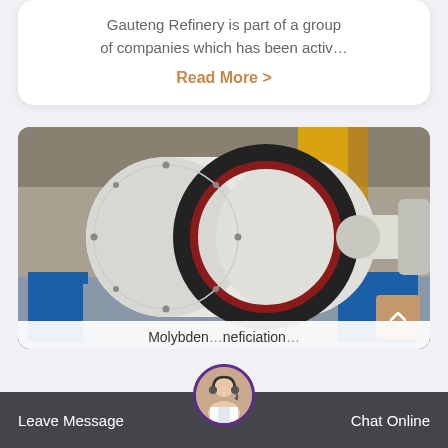Gauteng Refinery is part of a group of companies which has been activ…
Read More >
[Figure (photo): Large industrial ball mill machine, white cylindrical body with black gear ring, mounted on blue steel frame in a factory/warehouse setting. Yellow crane visible in background.]
Molybden... neficiation...
Leave Message   Chat Online